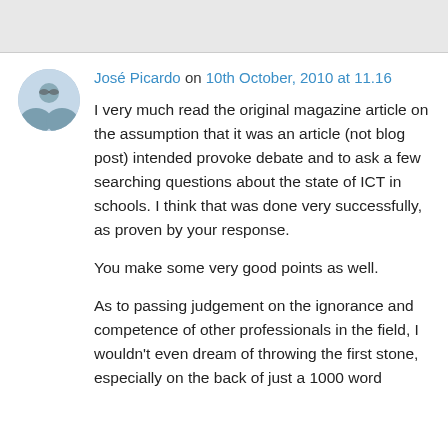[Figure (other): Gray header bar at the top of the page]
José Picardo on 10th October, 2010 at 11.16
I very much read the original magazine article on the assumption that it was an article (not blog post) intended provoke debate and to ask a few searching questions about the state of ICT in schools. I think that was done very successfully, as proven by your response.
You make some very good points as well.
As to passing judgement on the ignorance and competence of other professionals in the field, I wouldn't even dream of throwing the first stone, especially on the back of just a 1000 word